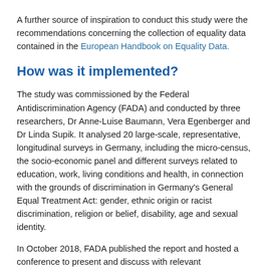A further source of inspiration to conduct this study were the recommendations concerning the collection of equality data contained in the European Handbook on Equality Data.
How was it implemented?
The study was commissioned by the Federal Antidiscrimination Agency (FADA) and conducted by three researchers, Dr Anne-Luise Baumann, Vera Egenberger and Dr Linda Supik. It analysed 20 large-scale, representative, longitudinal surveys in Germany, including the micro-census, the socio-economic panel and different surveys related to education, work, living conditions and health, in connection with the grounds of discrimination in Germany's General Equal Treatment Act: gender, ethnic origin or racist discrimination, religion or belief, disability, age and sexual identity.
In October 2018, FADA published the report and hosted a conference to present and discuss with relevant